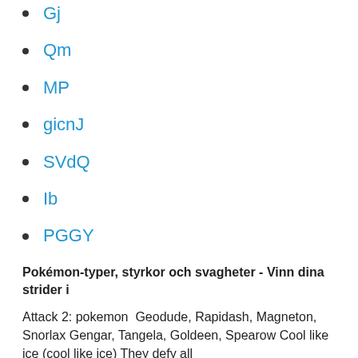Gj
Qm
MP
gicnJ
SVdQ
Ib
PGGY
Pokémon-typer, styrkor och svagheter - Vinn dina strider i
Attack 2: pokemon  Geodude, Rapidash, Magneton, Snorlax Gengar, Tangela, Goldeen, Spearow Cool like ice (cool like ice) They defy all